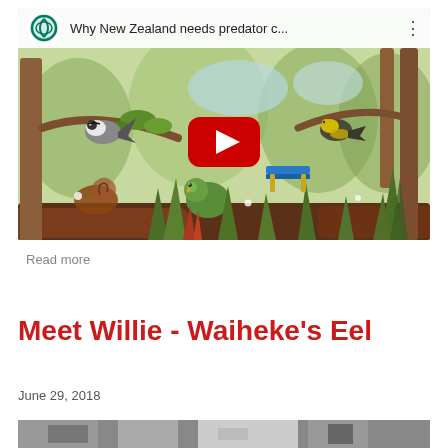[Figure (screenshot): YouTube video thumbnail showing animated New Zealand birds and wildlife in a forest scene. Title bar reads 'Why New Zealand needs predator c...' with YouTube logo. A red YouTube play button is centered on the image.]
Read more
Meet Willie - Waiheke's Eel
June 29, 2018
[Figure (photo): Partial photo at bottom of page, appears to show wildlife/eel content, mostly cut off.]